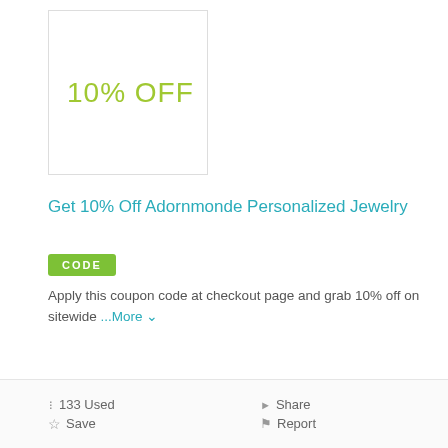[Figure (other): Coupon image box showing '10% OFF' in yellow-green text]
Get 10% Off Adornmonde Personalized Jewelry
CODE
Apply this coupon code at checkout page and grab 10% off on sitewide ...More
[Figure (other): Orange GET CODE button with partially revealed coupon code NA10]
100% SUCCESS
133 Used
Save
Share
Report